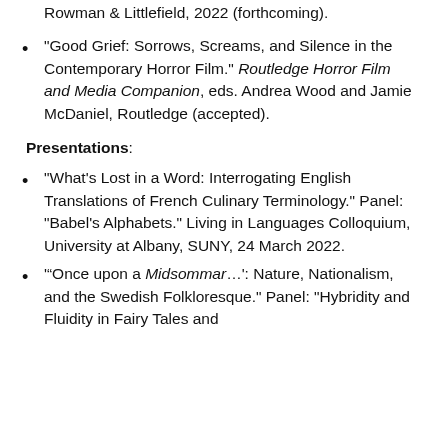Rowman & Littlefield, 2022 (forthcoming).
"Good Grief: Sorrows, Screams, and Silence in the Contemporary Horror Film." Routledge Horror Film and Media Companion, eds. Andrea Wood and Jamie McDaniel, Routledge (accepted).
Presentations:
"What's Lost in a Word: Interrogating English Translations of French Culinary Terminology." Panel: "Babel's Alphabets." Living in Languages Colloquium, University at Albany, SUNY, 24 March 2022.
'"Once upon a Midsommar…': Nature, Nationalism, and the Swedish Folkloresque." Panel: "Hybridity and Fluidity in Fairy Tales and